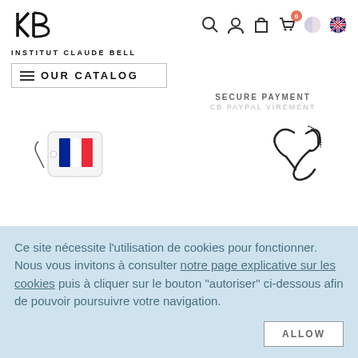[Figure (logo): Institut Claude Bell logo — stylized KB monogram above the text INSTITUT CLAUDE BELL]
[Figure (infographic): Navigation icons: search magnifying glass, user profile, shopping bag, cart with badge showing 0, French flag circle, UK flag circle]
OUR CATALOG
SECURE PAYMENT
CB PAYPAL VIREMENT
[Figure (illustration): Illustrated price tag with French tricolor flag (blue, white, red)]
[Figure (illustration): Illustrated telephone handset icon (line drawing style)]
Ce site nécessite l'utilisation de cookies pour fonctionner. Nous vous invitons à consulter notre page explicative sur les cookies puis à cliquer sur le bouton "autoriser" ci-dessous afin de pouvoir poursuivre votre navigation.
ALLOW